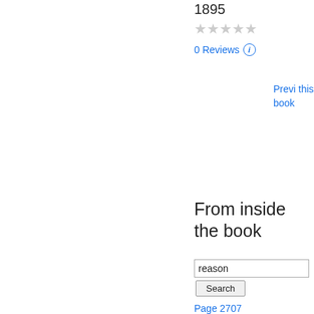1895
[Figure (other): Five grey star rating icons (empty/unrated stars)]
0 Reviews ⓘ
Preview this book
From inside the book
reason
Search
Page 2707
Certainly very few of the officers have any reason to find fault . You don't expect to find them coming up here with tales of woe or of brutality . It is the inmates , and when you